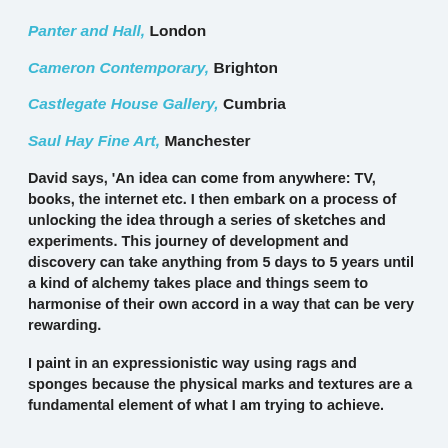Panter and Hall, London
Cameron Contemporary, Brighton
Castlegate House Gallery, Cumbria
Saul Hay Fine Art, Manchester
David says, 'An idea can come from anywhere: TV, books, the internet etc. I then embark on a process of unlocking the idea through a series of sketches and experiments. This journey of development and discovery can take anything from 5 days to 5 years until a kind of alchemy takes place and things seem to harmonise of their own accord in a way that can be very rewarding.
I paint in an expressionistic way using rags and sponges because the physical marks and textures are a fundamental element of what I am trying to achieve.